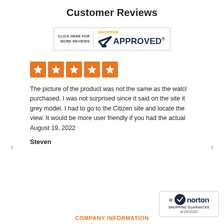Customer Reviews
[Figure (logo): Shopper Approved badge with checkmark logo and text 'CLICK HERE FOR MORE REVIEWS']
[Figure (other): Five orange star rating boxes]
The picture of the product was not the same as the watch purchased. I was not surprised since it said on the site it grey model. I had to go to the Citizen site and locate the view. It would be more user friendly if you had the actual
August 19, 2022
Steven
[Figure (logo): Norton Shopping Guarantee badge dated 8/19/2022]
COMPANY INFORMATION